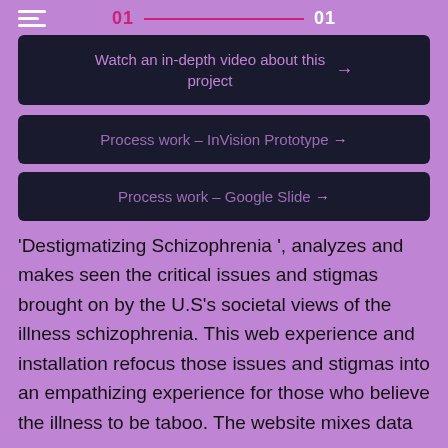01  01
Watch an in-depth video about this project →
Process work – InVision Prototype →
Process work – Google Slide →
'Destigmatizing Schizophrenia ', analyzes and makes seen the critical issues and stigmas brought on by the U.S's societal views of the illness schizophrenia. This web experience and installation refocus those issues and stigmas into an empathizing experience for those who believe the illness to be taboo. The website mixes data